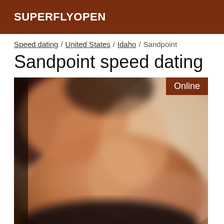SUPERFLYOPEN
Speed dating / United States / Idaho / Sandpoint
Sandpoint speed dating
[Figure (photo): Blurred close-up photograph of a person, showing neck/shoulder area, with an 'Online' badge in the top right corner on a dark brown background.]